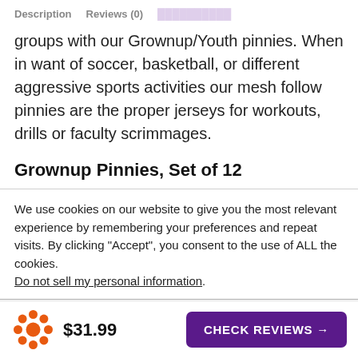Description   Reviews (0)
groups with our Grownup/Youth pinnies. When in want of soccer, basketball, or different aggressive sports activities our mesh follow pinnies are the proper jerseys for workouts, drills or faculty scrimmages.
Grownup Pinnies, Set of 12
We use cookies on our website to give you the most relevant experience by remembering your preferences and repeat visits. By clicking “Accept”, you consent to the use of ALL the cookies. Do not sell my personal information.
$31.99  CHECK REVIEWS →